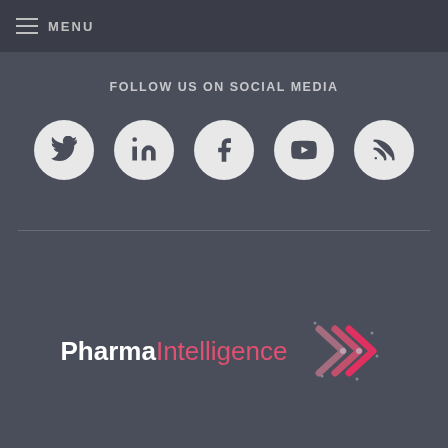MENU
FOLLOW US ON SOCIAL MEDIA
[Figure (illustration): Five social media icon circles: Twitter, LinkedIn, Facebook, YouTube, RSS feed]
[Figure (logo): Pharma Intelligence logo with double chevron arrow graphic]